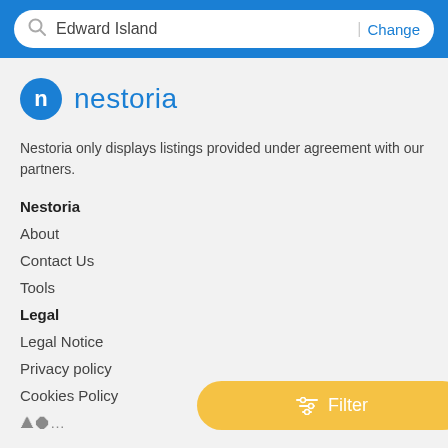Edward Island | Change
[Figure (logo): Nestoria logo: blue circle with white letter n, followed by blue text 'nestoria']
Nestoria only displays listings provided under agreement with our partners.
Nestoria
About
Contact Us
Tools
Legal
Legal Notice
Privacy policy
Cookies Policy